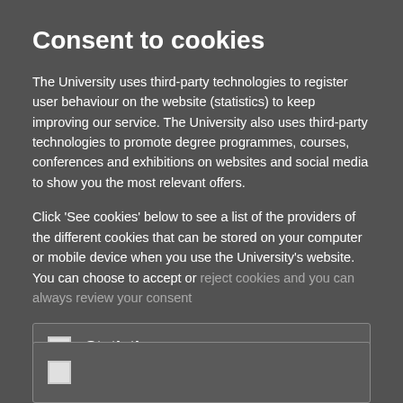Consent to cookies
The University uses third-party technologies to register user behaviour on the website (statistics) to keep improving our service. The University also uses third-party technologies to promote degree programmes, courses, conferences and exhibitions on websites and social media to show you the most relevant offers.
Click 'See cookies' below to see a list of the providers of the different cookies that can be stored on your computer or mobile device when you use the University's website. You can choose to accept or reject cookies and you can always review your consent
Statistics   Show cookies
(cookie box bottom)